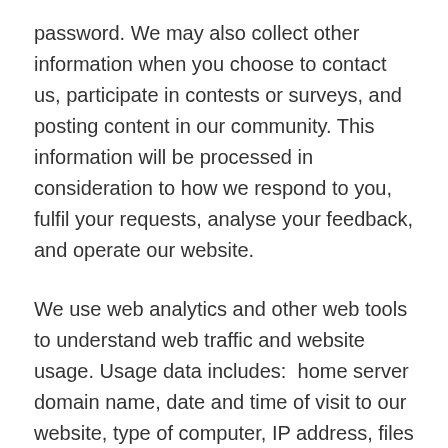password. We may also collect other information when you choose to contact us, participate in contests or surveys, and posting content in our community. This information will be processed in consideration to how we respond to you, fulfil your requests, analyse your feedback, and operate our website.
We use web analytics and other web tools to understand web traffic and website usage. Usage data includes:  home server domain name, date and time of visit to our website, type of computer, IP address, files downloaded, search engine used, operating system used, and the web browser.
Do we share personal data?